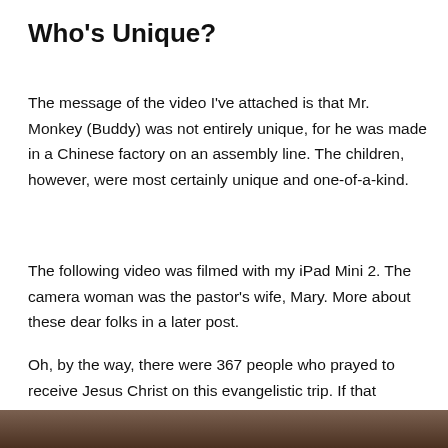Who's Unique?
The message of the video I've attached is that Mr. Monkey (Buddy) was not entirely unique, for he was made in a Chinese factory on an assembly line. The children, however, were most certainly unique and one-of-a-kind.
The following video was filmed with my iPad Mini 2. The camera woman was the pastor's wife, Mary. More about these dear folks in a later post.
Oh, by the way, there were 367 people who prayed to receive Jesus Christ on this evangelistic trip. If that doesn't qualify as an unmitigated success, I don't know what does. And more about that later, too.
[Figure (photo): Bottom strip showing the top edge of a photograph, appearing to show a person or scene outdoors with warm brown tones.]